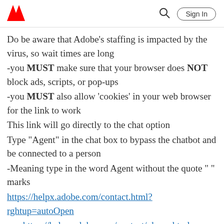Adobe logo | Search | Sign In
Do be aware that Adobe's staffing is impacted by the virus, so wait times are long
-you MUST make sure that your browser does NOT block ads, scripts, or pop-ups
-you MUST also allow 'cookies' in your web browser for the link to work
This link will go directly to the chat option
Type "Agent" in the chat box to bypass the chatbot and be connected to a person
-Meaning type in the word Agent without the quote " " marks
https://helpx.adobe.com/contact.html?rghtup=autoOpen
- or https://helpx.adobe.com/contact/phone.html